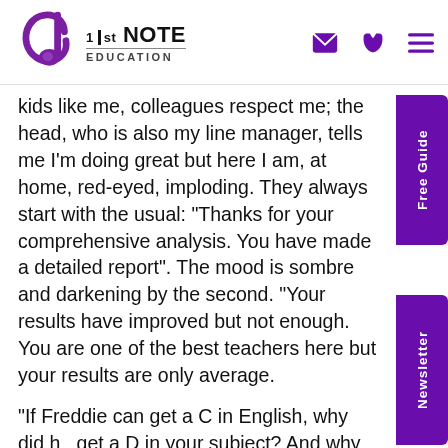1st NOTE EDUCATION
kids like me, colleagues respect me; the head, who is also my line manager, tells me I'm doing great but here I am, at home, red-eyed, imploding. They always start with the usual: “Thanks for your comprehensive analysis. You have made a detailed report”. The mood is sombre and darkening by the second. “Your results have improved but not enough. You are one of the best teachers here but your results are only average.
“If Freddie can get a C in English, why did he get a D in your subject? And why was that only a mark off a B? Do you actually challenge your pupils or are you making it too easy for them. Why do girls outperform boys?” I sat there aghast as he